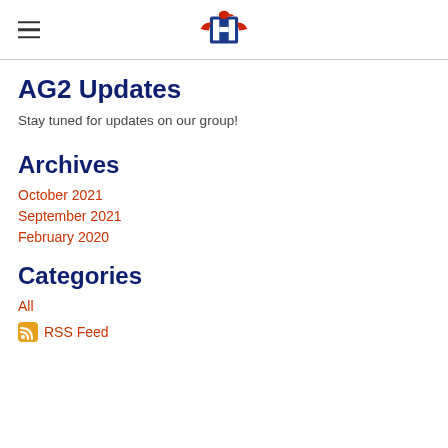AG2 Updates — site header with logo
AG2 Updates
Stay tuned for updates on our group!
Archives
October 2021
September 2021
February 2020
Categories
All
RSS Feed